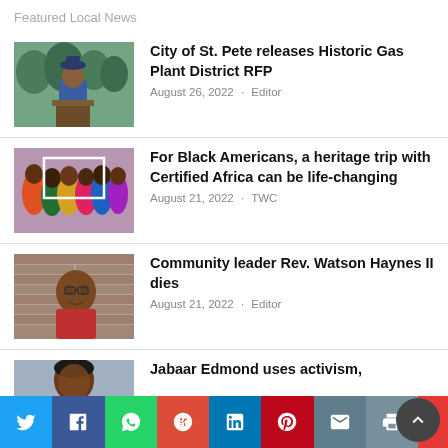Featured Local News
[Figure (photo): Man in blue suit speaking at an outdoor podium, trees in background]
City of St. Pete releases Historic Gas Plant District RFP
August 26, 2022 · Editor
[Figure (photo): Group of people in colorful African-style clothing]
For Black Americans, a heritage trip with Certified Africa can be life-changing
August 21, 2022 · TWC
[Figure (photo): Man in red shirt smiling, standing in front of a brick wall]
Community leader Rev. Watson Haynes II dies
August 21, 2022 · Editor
[Figure (photo): Young man's face, partial view]
Jabaar Edmond uses activism,